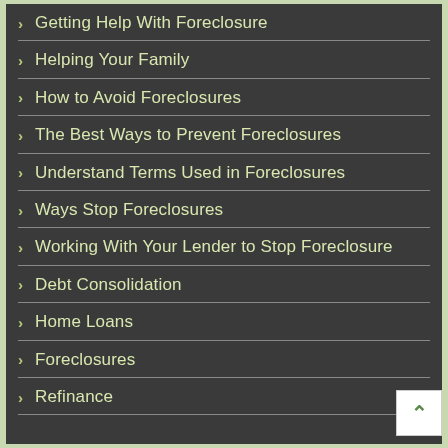Getting Help With Foreclosure
Helping Your Family
How to Avoid Foreclosures
The Best Ways to Prevent Foreclosures
Understand Terms Used in Foreclosures
Ways Stop Foreclosures
Working With Your Lender to Stop Foreclosure
Debt Consolidation
Home Loans
Foreclosures
Refinance